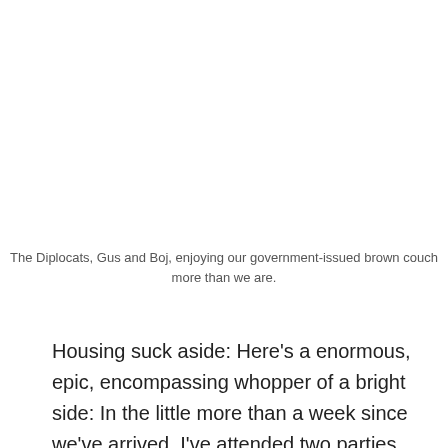The Diplocats, Gus and Boj, enjoying our government-issued brown couch more than we are.
Housing suck aside: Here's a enormous, epic, encompassing whopper of a bright side: In the little more than a week since we've arrived, I've attended two parties, one of which ended in a werewolf-hunting board game (so, basically, it was awesome), we've been invited to two dinners out, and we've gone to a ball. I've met people with whom I could immediately see myself being great